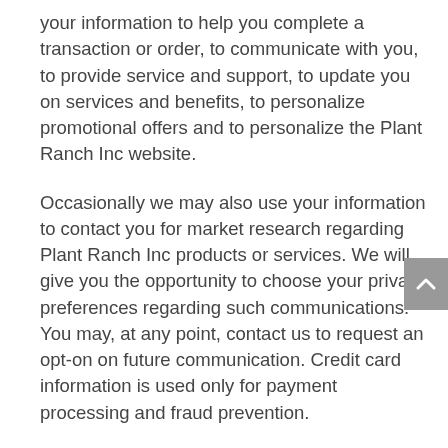your information to help you complete a transaction or order, to communicate with you, to provide service and support, to update you on services and benefits, to personalize promotional offers and to personalize the Plant Ranch Inc website.
Occasionally we may also use your information to contact you for market research regarding Plant Ranch Inc products or services. We will give you the opportunity to choose your privacy preferences regarding such communications. You may, at any point, contact us to request an opt-on on future communication. Credit card information is used only for payment processing and fraud prevention.